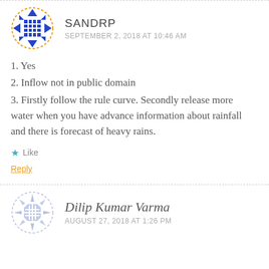[Figure (logo): SANDRP avatar icon: blue decorative geometric pattern with grid/house symbol inside a dashed orange circular border]
SANDRP
SEPTEMBER 2, 2018 AT 10:46 AM
1. Yes
2. Inflow not in public domain
3. Firstly follow the rule curve. Secondly release more water when you have advance information about rainfall and there is forecast of heavy rains.
Like
Reply
[Figure (logo): Dilip Kumar Varma avatar icon: light blue/grey decorative snowflake-like geometric pattern inside a dashed light border circle]
Dilip Kumar Varma
AUGUST 27, 2018 AT 1:26 PM